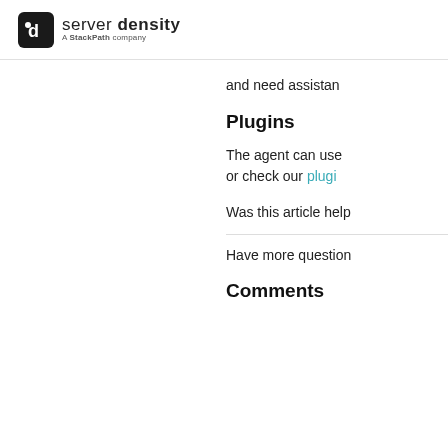server density — A StackPath company
and need assistance
Plugins
The agent can use or check our plugi
Was this article help
Have more question
Comments